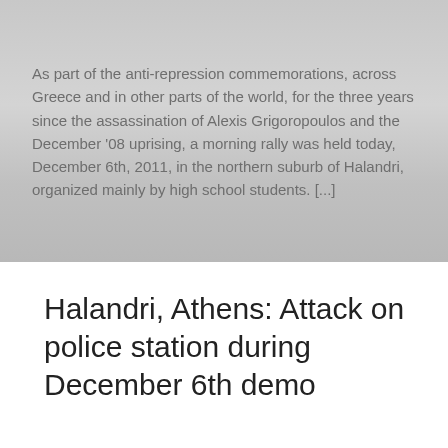As part of the anti-repression commemorations, across Greece and in other parts of the world, for the three years since the assassination of Alexis Grigoropoulos and the December '08 uprising, a morning rally was held today, December 6th, 2011, in the northern suburb of Halandri, organized mainly by high school students. [...]
Halandri, Athens: Attack on police station during December 6th demo